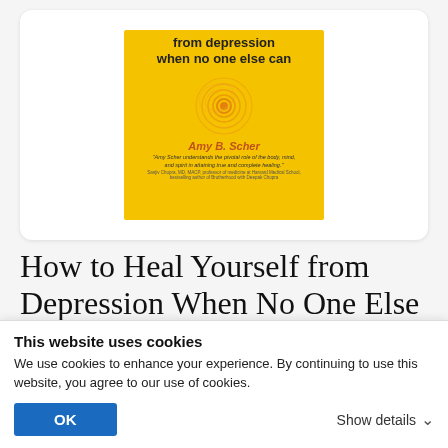[Figure (illustration): Book cover for 'How to Heal Yourself from Depression When No One Else Can' by Amy B. Scher, yellow background with orange swirl, shown inside a white rounded card]
How to Heal Yourself from Depression When No One Else
This website uses cookies
We use cookies to enhance your experience. By continuing to use this website, you agree to our use of cookies.
OK
Show details